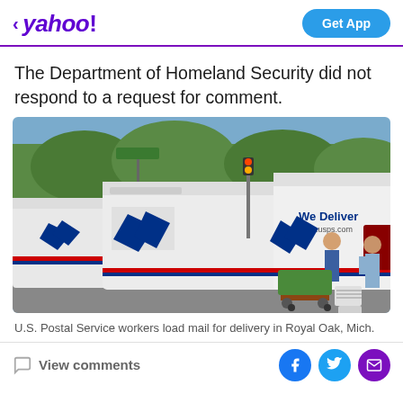< yahoo! | Get App
The Department of Homeland Security did not respond to a request for comment.
[Figure (photo): U.S. Postal Service workers loading mail from white USPS delivery vans in a parking area. Multiple USPS vehicles visible with blue eagle logo and red/blue stripes. Workers and a green mail cart visible.]
U.S. Postal Service workers load mail for delivery in Royal Oak, Mich.
View comments | Facebook | Twitter | Email